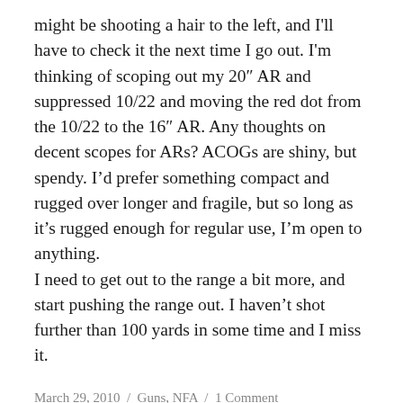might be shooting a hair to the left, and I'll have to check it the next time I go out. I'm thinking of scoping out my 20" AR and suppressed 10/22 and moving the red dot from the 10/22 to the 16" AR. Any thoughts on decent scopes for ARs? ACOGs are shiny, but spendy. I'd prefer something compact and rugged over longer and fragile, but so long as it's rugged enough for regular use, I'm open to anything.
I need to get out to the range a bit more, and start pushing the range out. I haven't shot further than 100 yards in some time and I miss it.
March 29, 2010  /  Guns, NFA  /  1 Comment